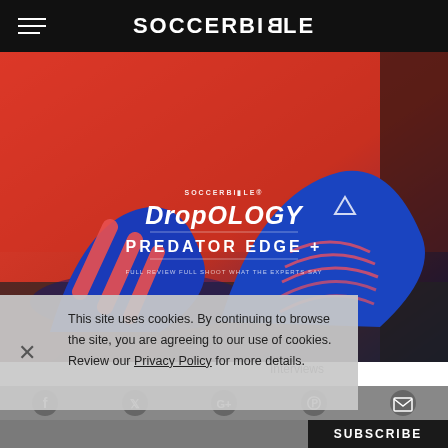SOCCERBIBLE
[Figure (photo): Blue and red/coral Adidas Predator Edge + football boots against an orange/red background, with Dropology branding overlay showing 'SOCCERBIBLE Dropology PREDATOR EDGE +' text]
This site uses cookies. By continuing to browse the site, you are agreeing to our use of cookies. Review our Privacy Policy for more details.
Interviews
SUBSCRIBE